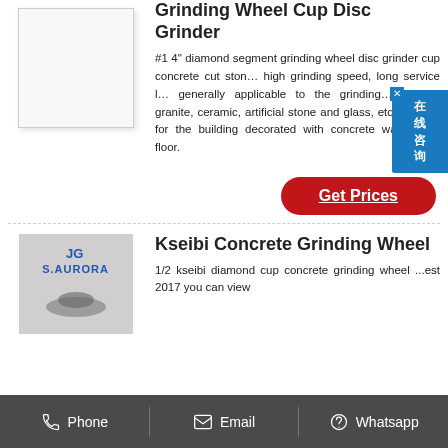Grinding Wheel Cup Disc Grinder
#1 4" diamond segment grinding wheel disc grinder cup concrete cut stone high grinding speed, long service life, generally applicable to the grinding marble, granite, ceramic, artificial stone and glass, etc. suitable for the building decorated with concrete wall,marble floor.
[Figure (other): White product image box for grinding wheel]
Get Prices
Kseibi Concrete Grinding Wheel
[Figure (other): Product image showing JG S.AURORA brand logo, concrete grinding wheel]
1/2 kseibi diamond cup concrete grinding wheel ...est 2017 you can view
[Figure (other): Floating Chinese chat widget labeled 在线咨询 (online consultation)]
Phone   Email   Whatsapp